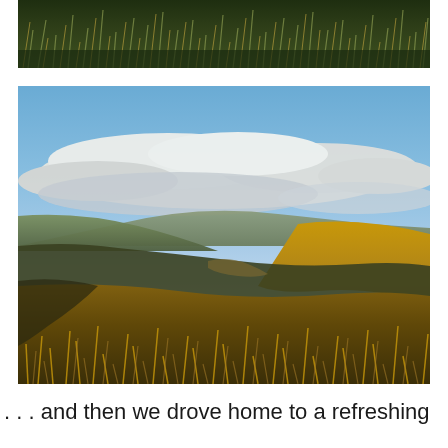[Figure (photo): Close-up photograph of golden-brown moorland grass and vegetation, dark background, partial view at top of page]
[Figure (photo): Landscape photograph of open moorland hills under a blue sky with white clouds. Rolling hills with golden-brown grasses in the foreground, distant hills visible in the background.]
. . . and then we drove home to a refreshing